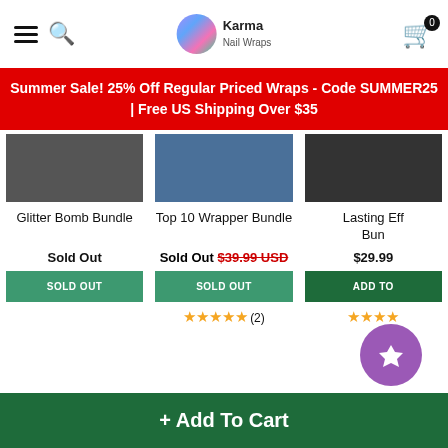Karma Nail Wraps
Summer Sale! 25% Off Regular Priced Wraps - Code SUMMER25 | Free US Shipping Over $35
Glitter Bomb Bundle
Sold Out
SOLD OUT
Top 10 Wrapper Bundle
Sold Out $39.99 USD
SOLD OUT
★★★★★ (2)
Lasting Eff... Bun...
$29.99
ADD TO...
★★★★
+ Add To Cart